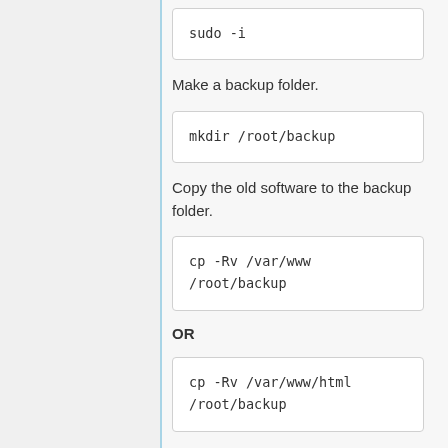sudo -i
Make a backup folder.
mkdir /root/backup
Copy the old software to the backup folder.
cp -Rv /var/www /root/backup
OR
cp -Rv /var/www/html /root/backup
Make a backup of the database.